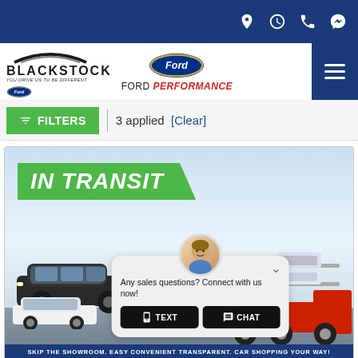Navigation icons: location, clock, phone, messenger
[Figure (logo): Blackstock Ford dealership logo with road arc graphic and tagline 'You drive us to be different']
[Figure (logo): Ford oval blue logo with 'FORD PERFORMANCE' text below in black and red]
FILTERS | 3 applied [Clear]
[Figure (photo): Vehicle listing card showing 'IN TRANSIT' banner over a car transport carrier background with multiple vehicles. A chat popup is overlaid showing a sales representative avatar, text 'Any sales questions? Connect with us now!' and two buttons labeled TEXT and CHAT. Bottom banner reads 'SKIP THE SHOWROOM. EASY CONVENIENT TRANSPARENT. CAR SHOPPING YOUR WAY!']